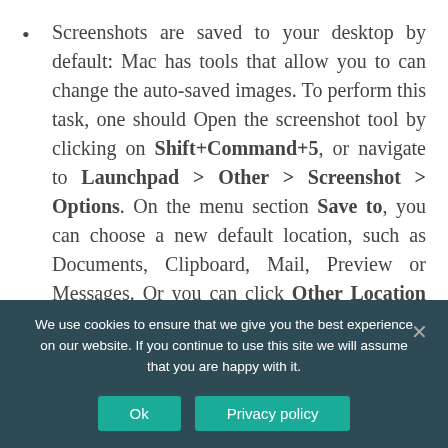Screenshots are saved to your desktop by default: Mac has tools that allow you to can change the auto-saved images. To perform this task, one should Open the screenshot tool by clicking on Shift+Command+5, or navigate to Launchpad > Other > Screenshot > Options. On the menu section Save to, you can choose a new default location, such as Documents, Clipboard, Mail, Preview or Messages. Or you can click Other Location to
We use cookies to ensure that we give you the best experience on our website. If you continue to use this site we will assume that you are happy with it.